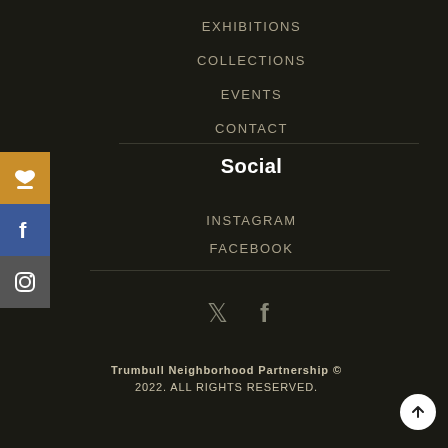EXHIBITIONS
COLLECTIONS
EVENTS
CONTACT
Social
INSTAGRAM
FACEBOOK
[Figure (illustration): Twitter and Facebook social media icons in muted olive/tan color]
Trumbull Neighborhood Partnership © 2022. ALL RIGHTS RESERVED.